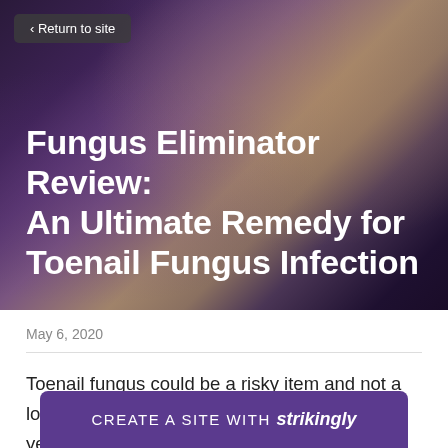[Figure (photo): Dark purple/maroon gradient hero background with brownish-gold highlight in upper right area]
< Return to site
Fungus Eliminator Review: An Ultimate Remedy for Toenail Fungus Infection
May 6, 2020
Toenail fungus could be a risky item and not a lot of people understand it. It starts off with a yellow colored area on one of the toenails of yours. It might appear something innocuous but there is a great a fung he
CREATE A SITE WITH strikingly